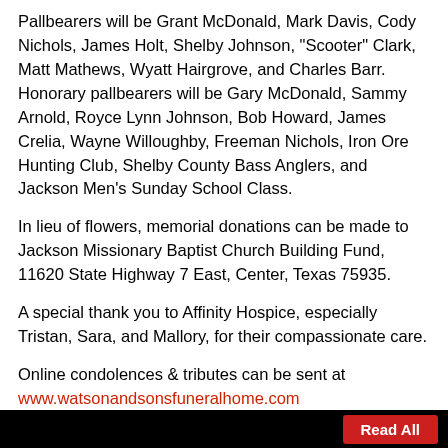Pallbearers will be Grant McDonald, Mark Davis, Cody Nichols, James Holt, Shelby Johnson, "Scooter" Clark, Matt Mathews, Wyatt Hairgrove, and Charles Barr. Honorary pallbearers will be Gary McDonald, Sammy Arnold, Royce Lynn Johnson, Bob Howard, James Crelia, Wayne Willoughby, Freeman Nichols, Iron Ore Hunting Club, Shelby County Bass Anglers, and Jackson Men's Sunday School Class.
In lieu of flowers, memorial donations can be made to Jackson Missionary Baptist Church Building Fund, 11620 State Highway 7 East, Center, Texas 75935.
A special thank you to Affinity Hospice, especially Tristan, Sara, and Mallory, for their compassionate care.
Online condolences & tributes can be sent at www.watsonandsonsfuneralhome.com